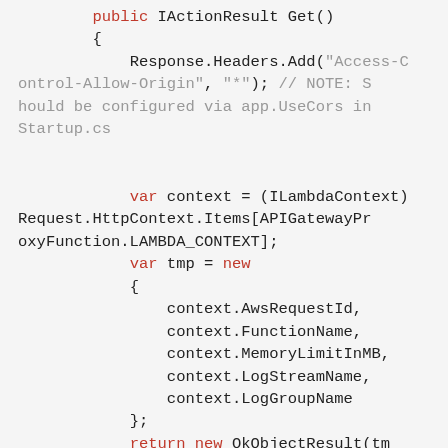[Figure (screenshot): Code snippet showing a C# ASP.NET controller action with CORS header setup, lambda context retrieval, and returning an OkObjectResult with context properties.]